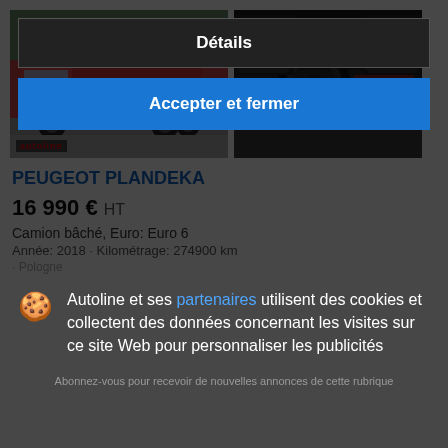[Figure (photo): Red Peugeot truck (plandeka/curtain-side) exterior photo, with autoline.net watermark]
[Figure (photo): Interior of Peugeot truck showing steering wheel, dashboard, black seats and blue floor mats]
PEUGEOT PLANDEKA
16 990 €  HT
Camion bâché, Euro: Euro 6
Année: 2018 · Kilométrage: 274900 km
Autoline et ses partenaires utilisent des cookies et collectent des données concernant les visites sur ce site Web pour personnaliser les publicités
Détails
Abonnez-vous pour recevoir de nouvelles annonces de cette rubrique
Accepter et fermer